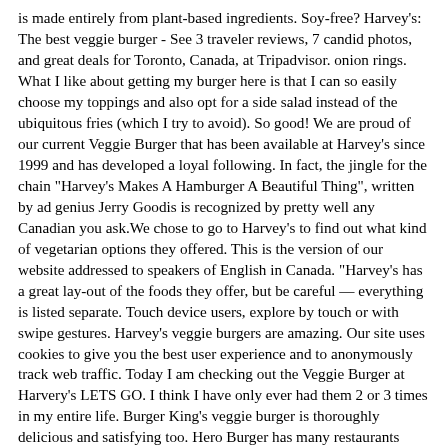is made entirely from plant-based ingredients. Soy-free? Harvey's: The best veggie burger - See 3 traveler reviews, 7 candid photos, and great deals for Toronto, Canada, at Tripadvisor. onion rings. What I like about getting my burger here is that I can so easily choose my toppings and also opt for a side salad instead of the ubiquitous fries (which I try to avoid). So good! We are proud of our current Veggie Burger that has been available at Harvey's since 1999 and has developed a loyal following. In fact, the jingle for the chain "Harvey's Makes A Hamburger A Beautiful Thing", written by ad genius Jerry Goodis is recognized by pretty well any Canadian you ask.We chose to go to Harvey's to find out what kind of vegetarian options they offered. This is the version of our website addressed to speakers of English in Canada. "Harvey's has a great lay-out of the foods they offer, but be careful — everything is listed separate. Touch device users, explore by touch or with swipe gestures. Harvey's veggie burgers are amazing. Our site uses cookies to give you the best user experience and to anonymously track web traffic. Today I am checking out the Veggie Burger at Harvery's LETS GO. I think I have only ever had them 2 or 3 times in my entire life. Burger King's veggie burger is thoroughly delicious and satisfying too. Hero Burger has many restaurants around Canada (mostly southern Ontario) and is known for its environmental stewardship. This was the first veggie burger I've tried (I've cut out beef from my diet) and let me say it was darn good!! Great place for a veggie burger. Take Harvey's with you. I